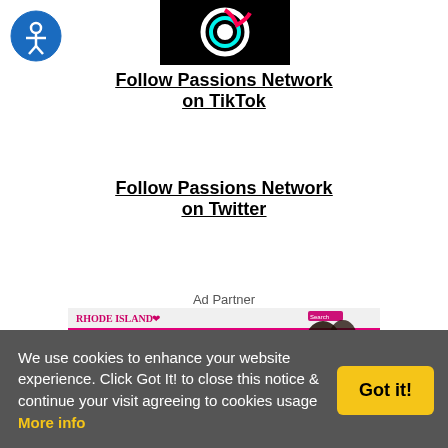[Figure (logo): Accessibility icon — blue circle with white person figure, top-left corner]
[Figure (logo): TikTok logo on black background — circular swirl icon with teal and pink/red accent]
Follow Passions Network on TikTok
Follow Passions Network on Twitter
Ad Partner
[Figure (screenshot): Rhode Island dating site advertisement — pink background with Quick Signup form and silhouette of couple]
We use cookies to enhance your website experience. Click Got It! to close this notice & continue your visit agreeing to cookies usage More info